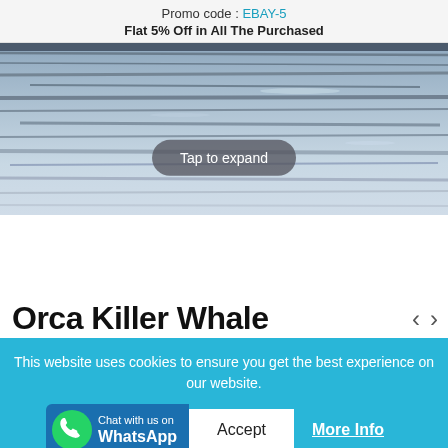Promo code : EBAY-5
Flat 5% Off in All The Purchased
[Figure (photo): Ocean water surface with ripples and reflections, partial view with 'Tap to expand' overlay button]
Orca Killer Whale
This website uses cookies to ensure you get the best experience on our website.
Chat with us on WhatsApp | Accept | More Info